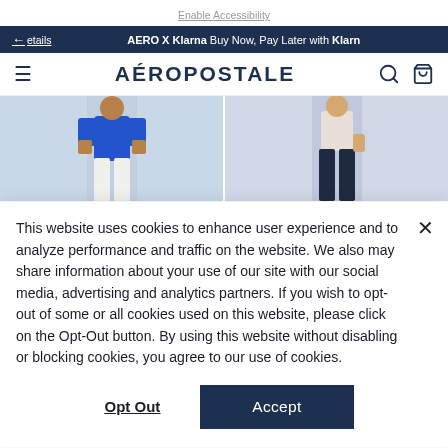Enable Accessibility
AERO X Klarna Buy Now, Pay Later with Klarna
AÉROPOSTALE
[Figure (photo): Two product photos side by side: left shows a person in a blue top and white pants, right shows a person in navy pants]
This website uses cookies to enhance user experience and to analyze performance and traffic on the website. We also may share information about your use of our site with our social media, advertising and analytics partners. If you wish to opt-out of some or all cookies used on this website, please click on the Opt-Out button. By using this website without disabling or blocking cookies, you agree to our use of cookies.
Opt Out
Accept